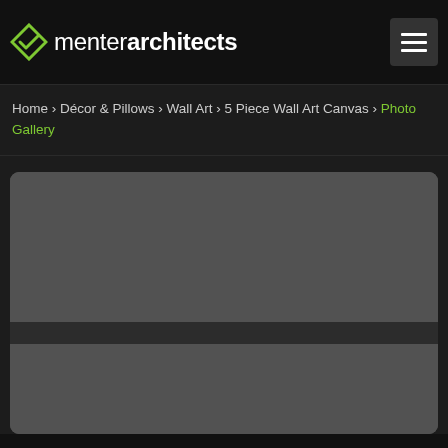menter architects
Home › Décor & Pillows › Wall Art › 5 Piece Wall Art Canvas › Photo Gallery
[Figure (screenshot): A gray placeholder gallery card with a dark filmstrip/navigation bar in the middle, showing a large dark gray image area at top and a smaller one at bottom, on a dark background. Part of an e-commerce product photo gallery UI.]